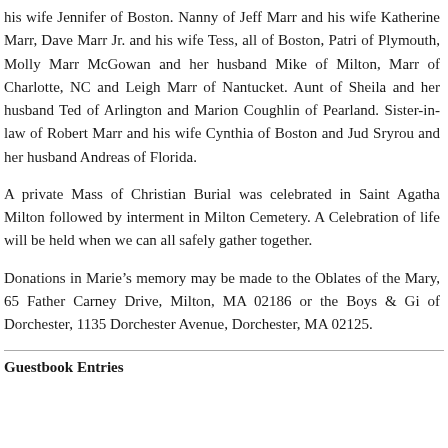his wife Jennifer of Boston. Nanny of Jeff Marr and his wife Katherine Marr, Dave Marr Jr. and his wife Tess, all of Boston, Patri of Plymouth, Molly Marr McGowan and her husband Mike of Milton, Marr of Charlotte, NC and Leigh Marr of Nantucket. Aunt of Sheila and her husband Ted of Arlington and Marion Coughlin of Pearland. Sister-in-law of Robert Marr and his wife Cynthia of Boston and Jud Sryrou and her husband Andreas of Florida.
A private Mass of Christian Burial was celebrated in Saint Agatha Milton followed by interment in Milton Cemetery. A Celebration of life will be held when we can all safely gather together.
Donations in Marie’s memory may be made to the Oblates of the Mary, 65 Father Carney Drive, Milton, MA 02186 or the Boys & Gi of Dorchester, 1135 Dorchester Avenue, Dorchester, MA 02125.
Guestbook Entries